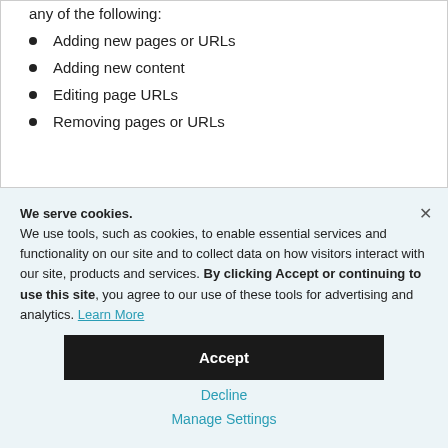any of the following:
Adding new pages or URLs
Adding new content
Editing page URLs
Removing pages or URLs
We serve cookies. We use tools, such as cookies, to enable essential services and functionality on our site and to collect data on how visitors interact with our site, products and services. By clicking Accept or continuing to use this site, you agree to our use of these tools for advertising and analytics. Learn More
Accept
Decline
Manage Settings